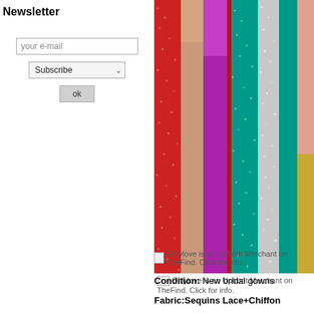Newsletter
[Figure (photo): Colorful sequin fabric swatches hanging vertically — red, rose gold, purple, teal, silver, gold, pink colors with sparkly sequin texture]
Onlylove is an Upfront Merchant on TheFind. Click for info.
Condition: New bridal gowns
Fabric:Sequins Lace+Chiffon